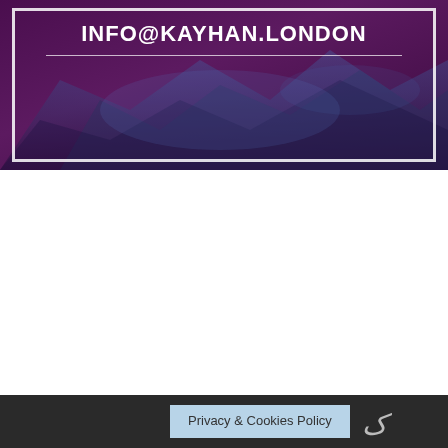[Figure (illustration): Dark purple banner with mountain/landscape background image, white inner border frame, and bold white text 'INFO@KAYHAN.LONDON' with a horizontal white line below it]
Privacy & Cookies Policy